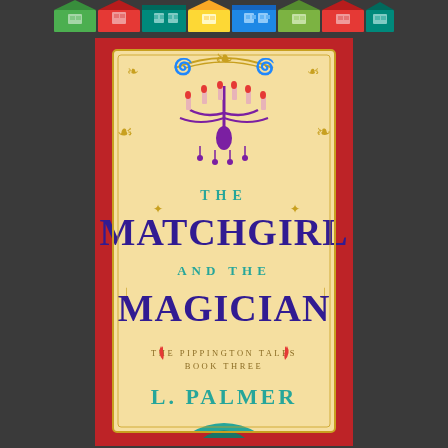[Figure (illustration): Colorful row of illustrated townhouses/storefronts in green, red, teal, yellow, blue, and lime colors forming a decorative banner strip at the top of the page.]
[Figure (illustration): Book cover for 'The Matchgirl and the Magician' - The Pippington Tales Book Three by L. Palmer. Deep red damask background with ornate cream/yellow central panel bordered with gold scrollwork. A purple chandelier with red-tipped candles hangs at the top center. Title text: 'THE' in teal, 'MATCHGIRL' in large dark purple bold serif font, 'AND THE' in teal, 'MAGICIAN' in large dark purple bold serif font. Below: 'THE PIPPINGTON TALES / BOOK THREE' in gold with red flame decorations on each side. Author name 'L. PALMER' in large teal serif font at the bottom. Decorative musical notes and gold swirls in corners.]